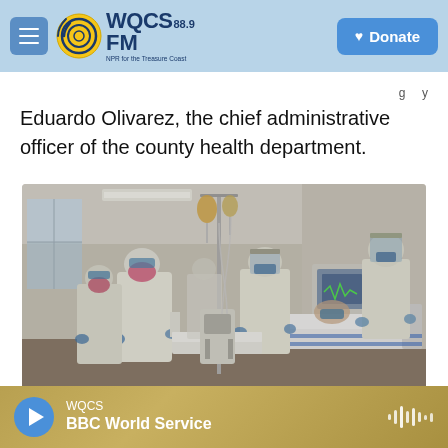WQCS 88.9 FM — NPR for the Treasure Coast | Donate
Eduardo Olivarez, the chief administrative officer of the county health department.
[Figure (photo): Hospital ICU scene with healthcare workers in full PPE (white gowns, respirators, face shields, gloves) attending to patients in beds, with medical equipment including IV poles and monitoring devices visible.]
WQCS — BBC World Service